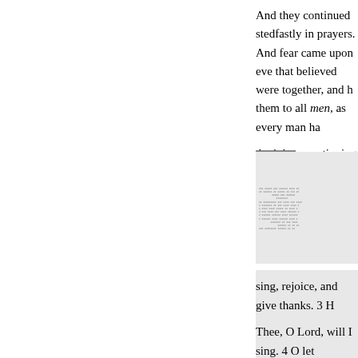And they continued stedfastly in prayers. And fear came upon eve that believed were together, and them to all men, as every man ha
And they, continuing daily with their meat with gladness and sin the Lord added to the church dai
[Figure (other): Scanned/degraded text image, partially legible column of old print]
sing, rejoice, and give thanks. 3 Thee, O Lord, will I sing. 4 O le liness. 5 When wilt Thou come u my house with a perfect heart. 6 sins of unfaithfulness : there sha upon PTEE lone broker the